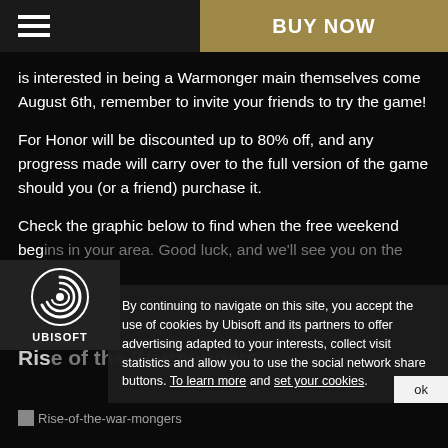BUY NOW
is interested in being a Warmonger main themselves come August 6th, remember to invite your friends to try the game!
For Honor will be discounted up to 80% off, and any progress made will carry over to the full version of the game should you (or a friend) purchase it.
Check the graphic below to find when the free weekend begins in your area. Good luck, and we'll see you on the battlefield.
[Figure (logo): Ubisoft logo with spiral icon and UBISOFT text]
By continuing to navigate on this site, you accept the use of cookies by Ubisoft and its partners to offer advertising adapted to your interests, collect visit statistics and allow you to use the social network share buttons. To learn more and set your cookies.
Freeweekend
Rise of the Warmongers
[Figure (illustration): Broken image: Rise-of-the-war-mongers]